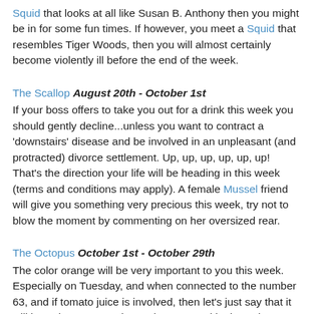Squid that looks at all like Susan B. Anthony then you might be in for some fun times. If however, you meet a Squid that resembles Tiger Woods, then you will almost certainly become violently ill before the end of the week.
The Scallop August 20th - October 1st
If your boss offers to take you out for a drink this week you should gently decline...unless you want to contract a 'downstairs' disease and be involved in an unpleasant (and protracted) divorce settlement. Up, up, up, up, up, up! That's the direction your life will be heading in this week (terms and conditions may apply). A female Mussel friend will give you something very precious this week, try not to blow the moment by commenting on her oversized rear.
The Octopus October 1st - October 29th
The color orange will be very important to you this week. Especially on Tuesday, and when connected to the number 63, and if tomato juice is involved, then let's just say that it will be a day to remember. Take a second look at what you are wearing. Your friends think that it is time that you burn your wardrobe. Maybe they are right? You will find yourself in